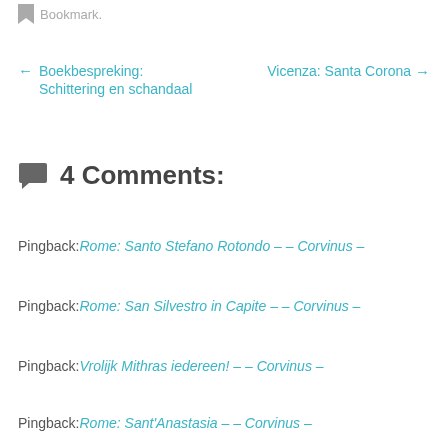Bookmark.
← Boekbespreking: Schittering en schandaal
Vicenza: Santa Corona →
4 Comments:
Pingback: Rome: Santo Stefano Rotondo – – Corvinus –
Pingback: Rome: San Silvestro in Capite – – Corvinus –
Pingback: Vrolijk Mithras iedereen! – – Corvinus –
Pingback: Rome: Sant'Anastasia – – Corvinus –